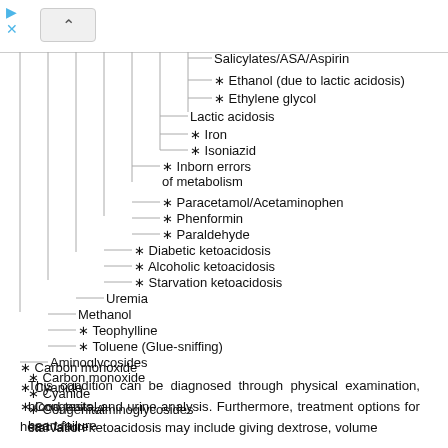[Figure (other): Hierarchical tree diagram showing causes of metabolic acidosis with vertical branch lines connecting nested items including Salicylates/ASA/Aspirin, Ethanol, Ethylene glycol, Lactic acidosis, Iron, Isoniazid, Inborn errors of metabolism, Paracetamol/Acetaminophen, Phenformin, Paraldehyde, Diabetic ketoacidosis, Alcoholic ketoacidosis, Starvation ketoacidosis, Uremia, Methanol, Teophylline, Toluene (Glue-sniffing), Aminoglycosides, Carbon monoxide, Cyanide, Congenital heart failure]
This condition can be diagnosed through physical examination, blood tests, and urine analysis. Furthermore, treatment options for starvation ketoacidosis may include giving dextrose, volume